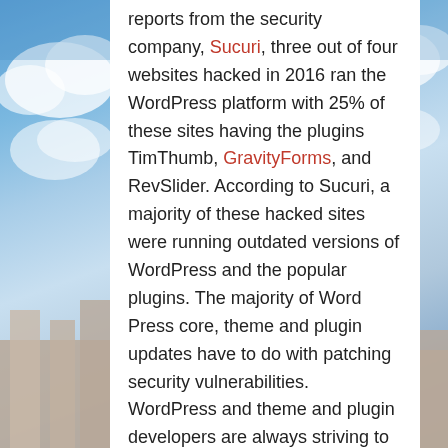[Figure (photo): Background photograph of a blue sky with clouds and the top of a classical stone building visible at the lower left and right edges.]
reports from the security company, Sucuri, three out of four websites hacked in 2016 ran the WordPress platform with 25% of these sites having the plugins TimThumb, GravityForms, and RevSlider. According to Sucuri, a majority of these hacked sites were running outdated versions of WordPress and the popular plugins. The majority of Word Press core, theme and plugin updates have to do with patching security vulnerabilities. WordPress and theme and plugin developers are always striving to make their products better and improve their features with new versions, but security is a paramount